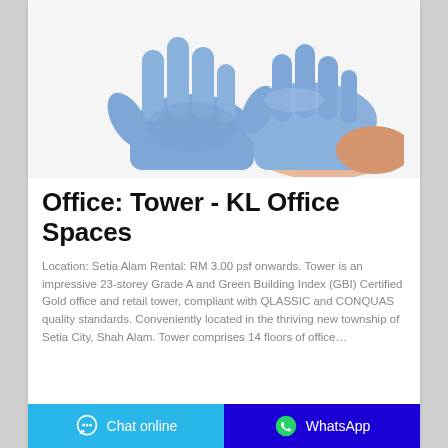[Figure (photo): Two hands wearing blue/purple nitrile or latex gloves against a white background, one hand flat and one hand overlapping from the right.]
Office: Tower - KL Office Spaces
Location: Setia Alam Rental: RM 3.00 psf onwards. Tower is an impressive 23-storey Grade A and Green Building Index (GBI) Certified Gold office and retail tower, compliant with QLASSIC and CONQUAS quality standards. Conveniently located in the thriving new township of Setia City, Shah Alam. Tower comprises 14 floors of office…
Chat online   WhatsApp